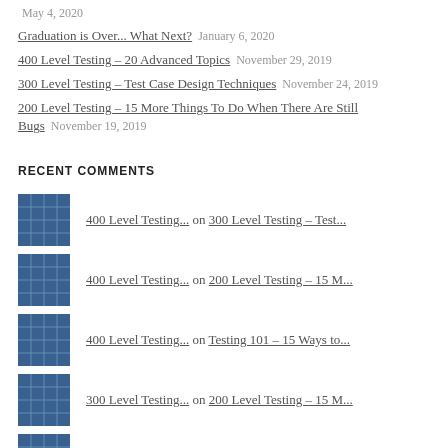May 4, 2020
Graduation is Over... What Next?   January 6, 2020
400 Level Testing – 20 Advanced Topics   November 29, 2019
300 Level Testing – Test Case Design Techniques   November 24, 2019
200 Level Testing – 15 More Things To Do When There Are Still Bugs   November 19, 2019
RECENT COMMENTS
400 Level Testing... on 300 Level Testing – Test...
400 Level Testing... on 200 Level Testing – 15 M...
400 Level Testing... on Testing 101 – 15 Ways to...
300 Level Testing... on 200 Level Testing – 15 M...
300 Level Testing... on Testing 101 – 15 Ways to...